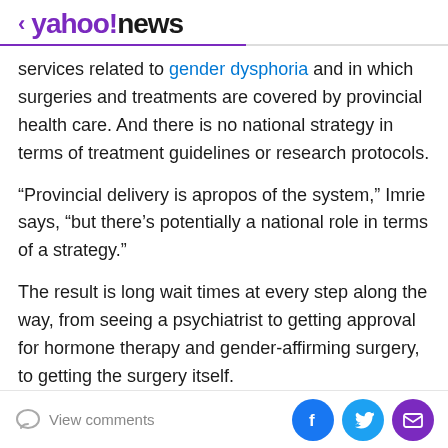< yahoo!news
services related to gender dysphoria and in which surgeries and treatments are covered by provincial health care. And there is no national strategy in terms of treatment guidelines or research protocols.
“Provincial delivery is apropos of the system,” Imrie says, “but there’s potentially a national role in terms of a strategy.”
The result is long wait times at every step along the way, from seeing a psychiatrist to getting approval for hormone therapy and gender-affirming surgery, to getting the surgery itself.
“Th...
View comments | Facebook | Twitter | Email